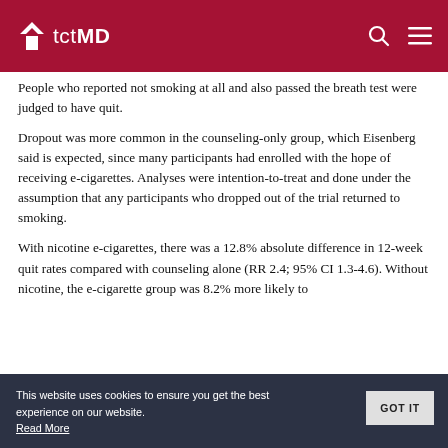tctMD
People who reported not smoking at all and also passed the breath test were judged to have quit.
Dropout was more common in the counseling-only group, which Eisenberg said is expected, since many participants had enrolled with the hope of receiving e-cigarettes. Analyses were intention-to-treat and done under the assumption that any participants who dropped out of the trial returned to smoking.
With nicotine e-cigarettes, there was a 12.8% absolute difference in 12-week quit rates compared with counseling alone (RR 2.4; 95% CI 1.3-4.6). Without nicotine, the e-cigarette group was 8.2% more likely to
This website uses cookies to ensure you get the best experience on our website. Read More